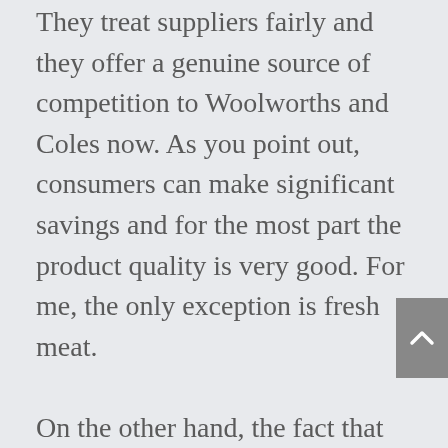They treat suppliers fairly and they offer a genuine source of competition to Woolworths and Coles now. As you point out, consumers can make significant savings and for the most part the product quality is very good. For me, the only exception is fresh meat.

On the other hand, the fact that they have been